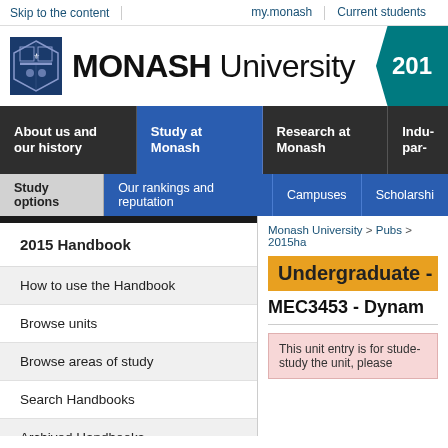Skip to the content | my.monash | Current students
[Figure (logo): Monash University logo with crest and text, year badge showing 2015]
About us and our history | Study at Monash | Research at Monash | Indu- par-
Study options | Our rankings and reputation | Campuses | Scholarships
2015 Handbook
How to use the Handbook
Browse units
Browse areas of study
Search Handbooks
Archived Handbooks
Monash University > Pubs > 2015ha
Undergraduate - U
MEC3453 - Dynam
This unit entry is for stude- study the unit, please